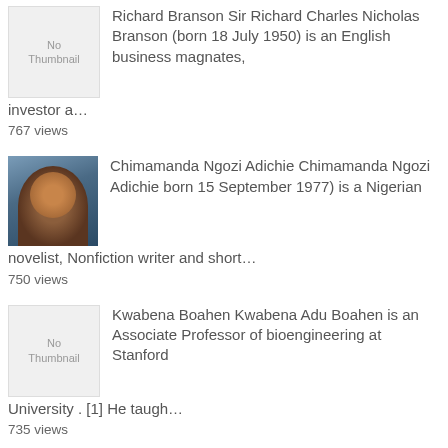Richard Branson Sir Richard Charles Nicholas Branson (born 18 July 1950) is an English business magnates, investor a… 767 views
Chimamanda Ngozi Adichie Chimamanda Ngozi Adichie born 15 September 1977) is a Nigerian novelist, Nonfiction writer and short… 750 views
Kwabena Boahen Kwabena Adu Boahen is an Associate Professor of bioengineering at Stanford University . [1] He taugh… 735 views